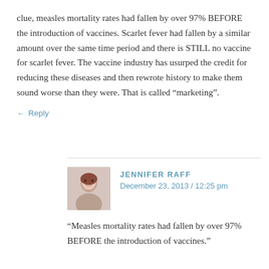clue, measles mortality rates had fallen by over 97% BEFORE the introduction of vaccines. Scarlet fever had fallen by a similar amount over the same time period and there is STILL no vaccine for scarlet fever. The vaccine industry has usurped the credit for reducing these diseases and then rewrote history to make them sound worse than they were. That is called “marketing”.
← Reply
JENNIFER RAFF
December 23, 2013 / 12:25 pm
“Measles mortality rates had fallen by over 97% BEFORE the introduction of vaccines.”